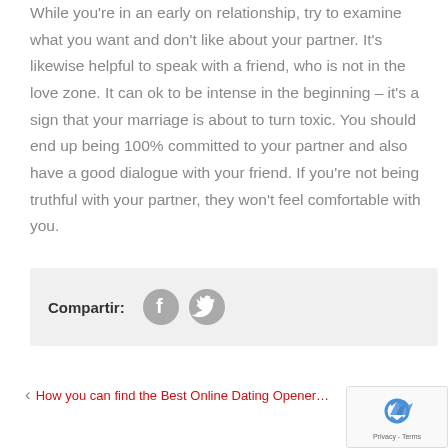While you're in an early on relationship, try to examine what you want and don't like about your partner. It's likewise helpful to speak with a friend, who is not in the love zone. It can ok to be intense in the beginning – it's a sign that your marriage is about to turn toxic. You should end up being 100% committed to your partner and also have a good dialogue with your friend. If you're not being truthful with your partner, they won't feel comfortable with you.
[Figure (infographic): Social share bar with label 'Compartir:' and Facebook and Twitter circular icon buttons]
‹ How you can find the Best Online Dating Opener…
[Figure (logo): reCAPTCHA badge with recycling-style arrow logo and 'Privacy - Terms' text]